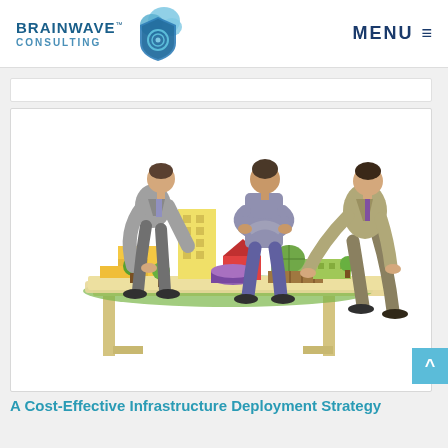[Figure (logo): BrainWave Consulting logo with shield and cloud icon, blue color scheme]
MENU ≡
[Figure (illustration): Three businessmen leaning over a table examining a architectural scale model with colorful building models including yellow tower, red house, green dome, purple cylinder, and small trees]
A Cost-Effective Infrastructure Deployment Strategy